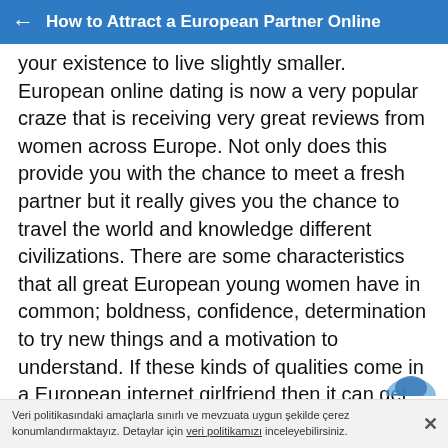How to Attract a European Partner Online
your existence to live slightly smaller. European online dating is now a very popular craze that is receiving very great reviews from women across Europe. Not only does this provide you with the chance to meet a fresh partner but it really gives you the chance to travel the world and knowledge different civilizations. There are some characteristics that all great European young women have in common; boldness, confidence, determination to try new things and a motivation to understand. If these kinds of qualities come in a European internet girlfriend then it can get you further.
Veri politikasındaki amaçlarla sınırlı ve mevzuata uygun şekilde çerez konumlandırmaktayız. Detaylar için veri politikamızı inceleyebilirsiniz.